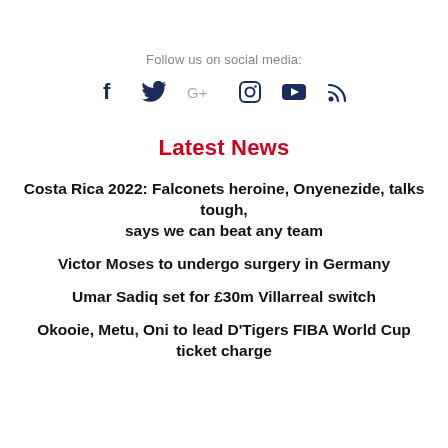Follow us on social media:
[Figure (infographic): Social media icons row: Facebook, Twitter, Google+, Instagram, YouTube, RSS]
Latest News
Costa Rica 2022: Falconets heroine, Onyenezide, talks tough, says we can beat any team
Victor Moses to undergo surgery in Germany
Umar Sadiq set for £30m Villarreal switch
Okooie, Metu, Oni to lead D'Tigers FIBA World Cup ticket charge